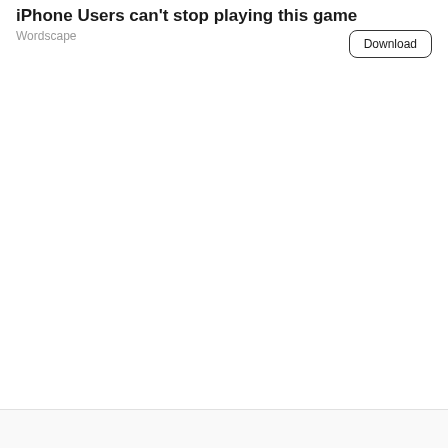iPhone Users can't stop playing this game
Wordscape
Download